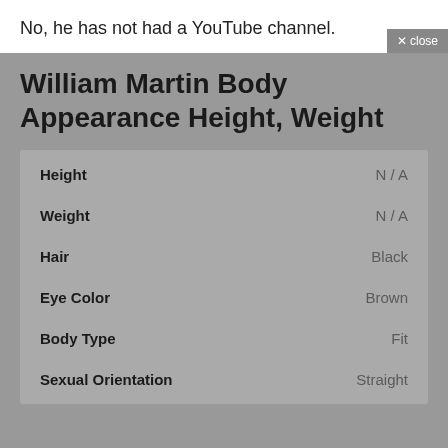No, he has not had a YouTube channel.
William Martin Body Appearance Height, Weight
|  |  |
| --- | --- |
| Height | N / A |
| Weight | N / A |
| Hair | Black |
| Eye Color | Brown |
| Body Type | Fit |
| Sexual Orientation | Straight |